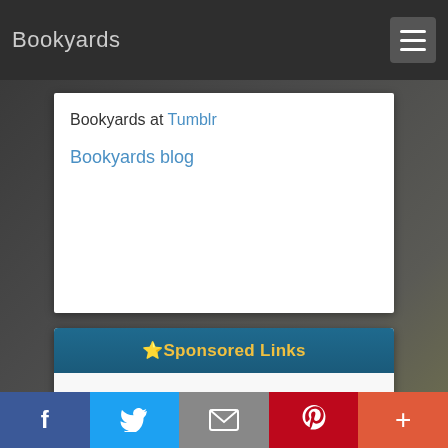Bookyards
Bookyards at Tumblr
Bookyards blog
⭐Sponsored Links
f  Twitter  Mail  P  +